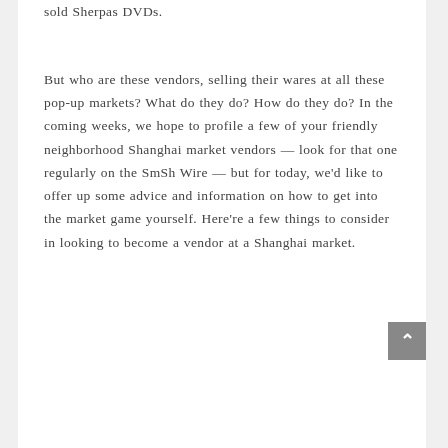sold Sherpas DVDs.
But who are these vendors, selling their wares at all these pop-up markets? What do they do? How do they do? In the coming weeks, we hope to profile a few of your friendly neighborhood Shanghai market vendors — look for that one regularly on the SmSh Wire — but for today, we'd like to offer up some advice and information on how to get into the market game yourself. Here're a few things to consider in looking to become a vendor at a Shanghai market.